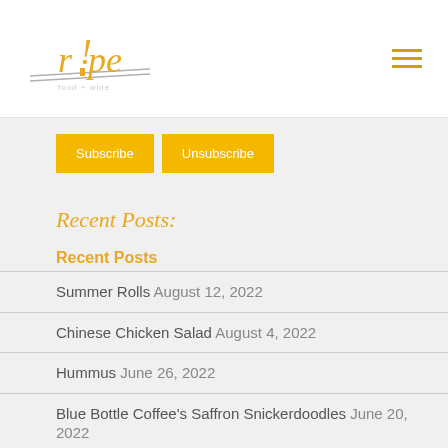[Figure (logo): Ripe food and wine restaurant logo with stylized text and swoosh lines, yellow/gold color]
[Figure (other): Hamburger menu icon, three horizontal lines, gold/orange color]
Subscribe
Unsubscribe
Recent Posts:
Recent Posts
Summer Rolls August 12, 2022
Chinese Chicken Salad August 4, 2022
Hummus June 26, 2022
Blue Bottle Coffee's Saffron Snickerdoodles June 20, 2022